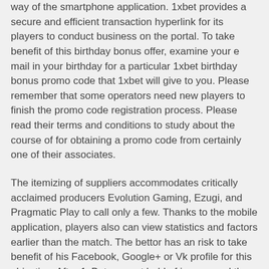way of the smartphone application. 1xbet provides a secure and efficient transaction hyperlink for its players to conduct business on the portal. To take benefit of this birthday bonus offer, examine your e mail in your birthday for a particular 1xbet birthday bonus promo code that 1xbet will give to you. Please remember that some operators need new players to finish the promo code registration process. Please read their terms and conditions to study about the course of for obtaining a promo code from certainly one of their associates.
The itemizing of suppliers accommodates critically acclaimed producers Evolution Gaming, Ezugi, and Pragmatic Play to call only a few. Thanks to the mobile application, players also can view statistics and factors earlier than the match. The bettor has an risk to take benefit of his Facebook, Google+ or Vk profile for this objective. After 1xBet app get hold of is prepared the players have a chance to handle settings. During the soccer season, a typical weekend will see us posting fairly so much of free soccer tips.